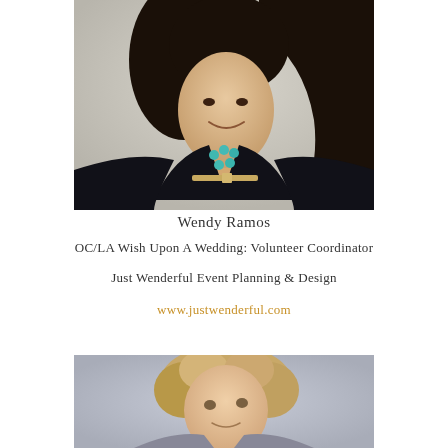[Figure (photo): Portrait photo of Wendy Ramos, a young woman with long dark curly hair, wearing a black lace top with a thin gold belt and a turquoise beaded necklace, smiling, photographed against a light background.]
Wendy Ramos
OC/LA Wish Upon A Wedding: Volunteer Coordinator
Just Wenderful Event Planning & Design
www.justwenderful.com
[Figure (photo): Portrait photo of a woman with short curly blonde hair, looking upward slightly, photographed against a soft blurred background.]